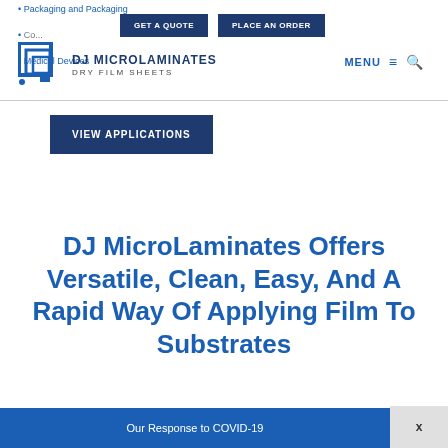• Packaging and Packaging
• Co...
• Medical Devices
[Figure (logo): DJ MicroLaminates logo with geometric square icon and text 'DJ MICROLAMINATES Dry Film Sheets']
MENU ≡ 🔍
VIEW APPLICATIONS
DJ MicroLaminates Offers Versatile, Clean, Easy, And A Rapid Way Of Applying Film To Substrates
Our Response to COVID-19
x